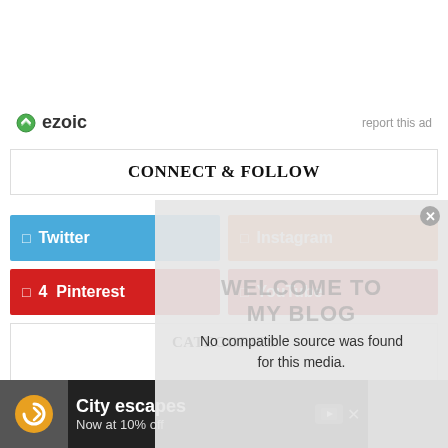[Figure (logo): Ezoic logo with green circular icon and text 'ezoic', alongside 'report this ad' link]
CONNECT & FOLLOW
[Figure (infographic): Social media buttons: Twitter (blue), Instagram (orange), Pinterest (red, 4 followers), YouTube (red)]
CATEGORIES
[Figure (screenshot): Video overlay showing 'No compatible source was found for this media.' with welcome to my blog watermark and close button]
[Figure (infographic): Advertisement banner: City escapes Now at 10% off with ezoic icon]